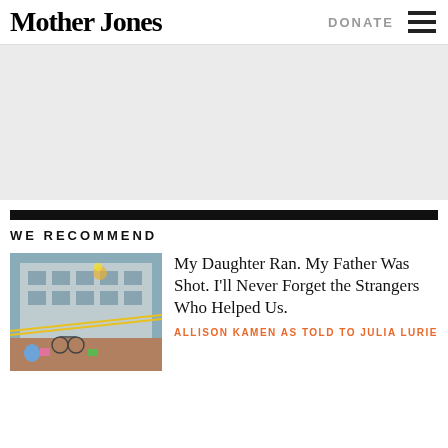Mother Jones
DONATE
[Figure (photo): Mother Jones website screenshot showing navigation bar with logo, Donate link, and hamburger menu]
WE RECOMMEND
[Figure (photo): Outdoor plaza scene with bicycles, colorful chairs, balloons, and yellow crime scene tape in front of a building]
My Daughter Ran. My Father Was Shot. I'll Never Forget the Strangers Who Helped Us.
ALLISON KAMEN AS TOLD TO JULIA LURIE